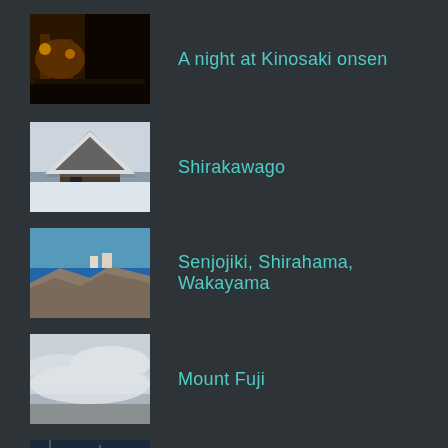A night at Kinosaki onsen
Shirakawago
Senjojiki, Shirahama, Wakayama
Mount Fuji
Shimonada Station, Ehime
Shirakami-Sanchi, Aomori
Buckwheat field in Fukushima, Inawashiro